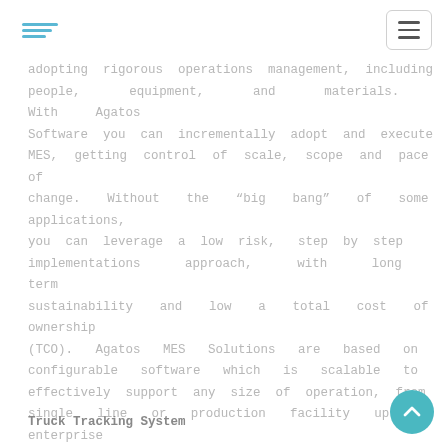[Logo: wavy lines] [Menu button]
adopting rigorous operations management, including people, equipment, and materials. With Agatos Software you can incrementally adopt and execute MES, getting control of scale, scope and pace of change. Without the “big bang” of some applications, you can leverage a low risk, step by step implementations approach, with long term sustainability and low a total cost of ownership (TCO). Agatos MES Solutions are based on configurable software which is scalable to effectively support any size of operation, from single line or production facility up to enterprise implementations, with large or multiple plants, including those geographically distributed.
Truck Tracking System